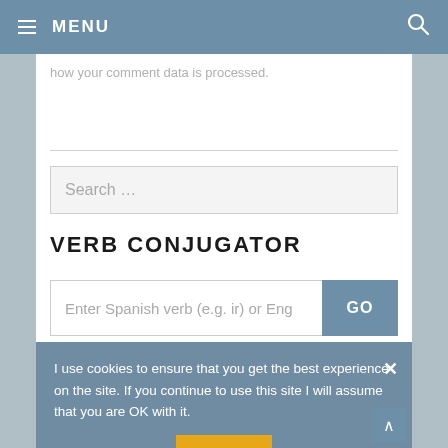≡ MENU
how your comment data is processed.
Search …
VERB CONJUGATOR
Enter Spanish verb (e.g. ir) or Eng
GO
I use cookies to ensure that you get the best experience on the site. If you continue to use this site I will assume that you are OK with it.
OK
EDITOR'S FAVORITES